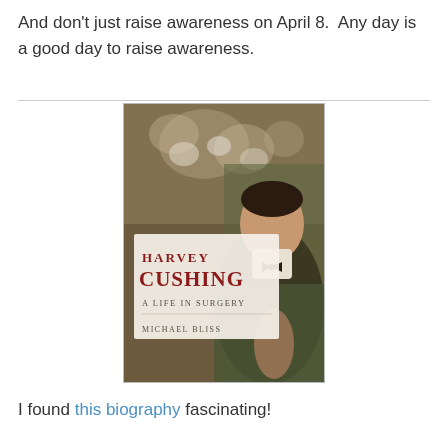And don't just raise awareness on April 8.  Any day is a good day to raise awareness.
[Figure (photo): Book cover of 'Harvey Cushing: A Life in Surgery' by Michael Bliss, showing a portrait of Harvey Cushing in formal attire with a background scene of surgeons at work.]
I found this biography fascinating!